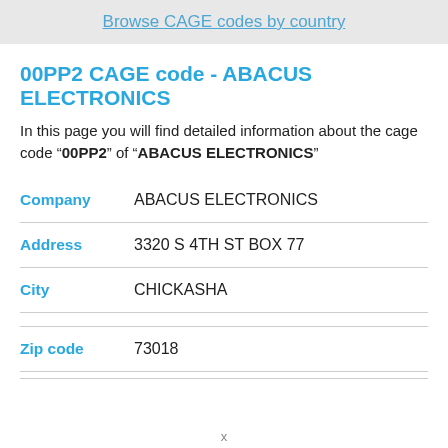Browse CAGE codes by country
00PP2 CAGE code - ABACUS ELECTRONICS
In this page you will find detailed information about the cage code “00PP2” of “ABACUS ELECTRONICS”
| Field | Value |
| --- | --- |
| Company | ABACUS ELECTRONICS |
| Address | 3320 S 4TH ST BOX 77 |
| City | CHICKASHA |
| Zip code | 73018 |